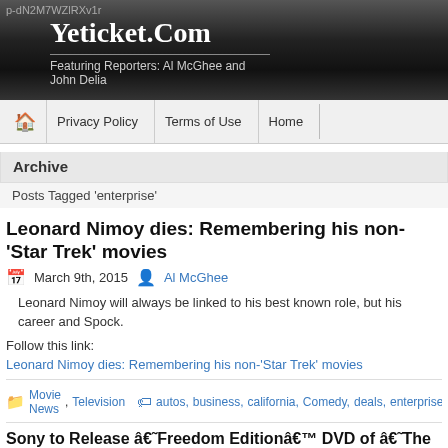p-dN2M7WZlRXv1r
Yeticket.Com
Featuring Reporters: Al McGhee and John Delia
Privacy Policy   Terms of Use   Home
Archive
Posts Tagged 'enterprise'
Leonard Nimoy dies: Remembering his non-'Star Trek' movies
March 9th, 2015   Al McGhee
Leonard Nimoy will always be linked to his best known role, but his career and Spock.
Follow this link:
Leonard Nimoy dies: Remembering his non-'Star Trek' movies
Movie News, Television    autos, business, california, Comedy, deals, enterprise
Sony to Release â€˜Freedom Editionâ€™ DVD of â€˜The Interviewâ€™